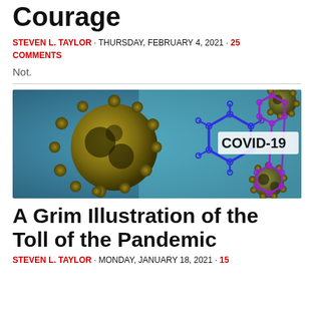Courage
STEVEN L. TAYLOR · THURSDAY, FEBRUARY 4, 2021 · 25 COMMENTS
Not.
[Figure (photo): Microscopic illustration of COVID-19 coronavirus particles (yellow/green) with hexagonal molecular structures overlaid in blue and purple, with 'COVID-19' text label on the right side.]
A Grim Illustration of the Toll of the Pandemic
STEVEN L. TAYLOR · MONDAY, JANUARY 18, 2021 · 15